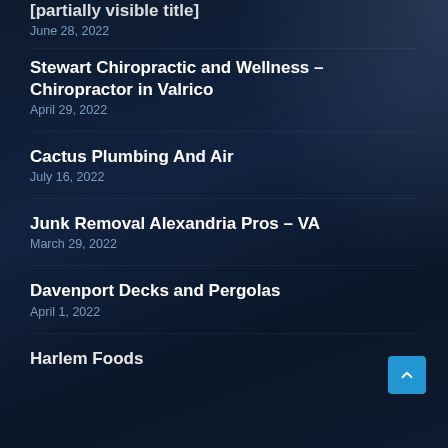[truncated title]
June 28, 2022
Stewart Chiropractic and Wellness – Chiropractor in Valrico
April 29, 2022
Cactus Plumbing And Air
July 16, 2022
Junk Removal Alexandria Pros – VA
March 29, 2022
Davenport Decks and Pergolas
April 1, 2022
Harlem Foods